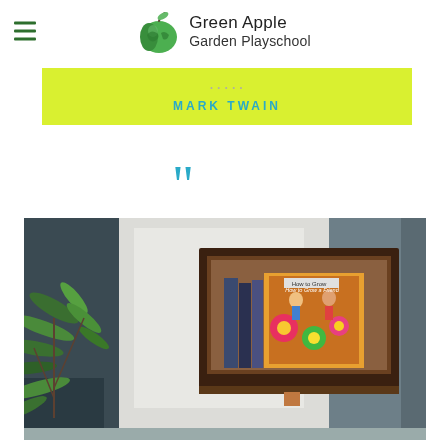Green Apple Garden Playschool
MARK TWAIN
[Figure (photo): A wooden wall-mounted shelf holding children's books including 'How to Grow a Friend', with a green plant visible on the left side, against a grey and white wall background.]